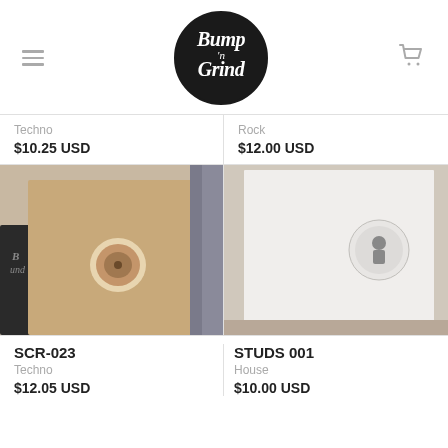Bump 'n Grind (logo)
Techno
$10.25 USD
Rock
$12.00 USD
[Figure (photo): Vinyl record in brown kraft paper sleeve with circular cutout showing record label]
[Figure (photo): Vinyl record in white sleeve with small circular label showing a figure]
SCR-023
Techno
$12.05 USD
STUDS 001
House
$10.00 USD